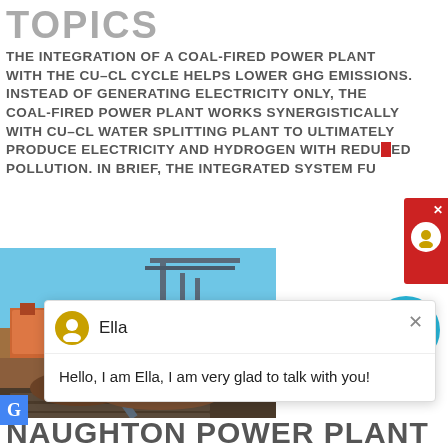TOPICS
THE INTEGRATION OF A COAL-FIRED POWER PLANT WITH THE CU–CL CYCLE HELPS LOWER GHG EMISSIONS. INSTEAD OF GENERATING ELECTRICITY ONLY, THE COAL-FIRED POWER PLANT WORKS SYNERGISTICALLY WITH CU–CL WATER SPLITTING PLANT TO ULTIMATELY PRODUCE ELECTRICITY AND HYDROGEN WITH REDU[CED] POLLUTION. IN BRIEF, THE INTEGRATED SYSTEM FU[LLY...]
[Figure (screenshot): Chat popup with avatar of Ella, showing greeting message: Hello, I am Ella, I am very glad to talk with you!]
[Figure (photo): Industrial coal plant or conveyor belt facility with steel structures, outdoor setting, dated 15/05/2012]
NAUGHTON POWER PLANT